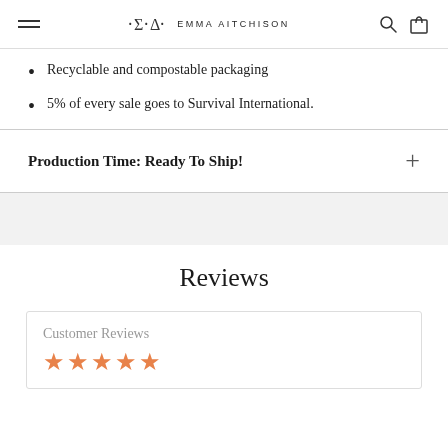Emma Aitchison — navigation header with hamburger menu, logo, search and cart icons
Recyclable and compostable packaging
5% of every sale goes to Survival International.
Production Time: Ready To Ship!
Reviews
Customer Reviews
★★★★★ (star rating display)